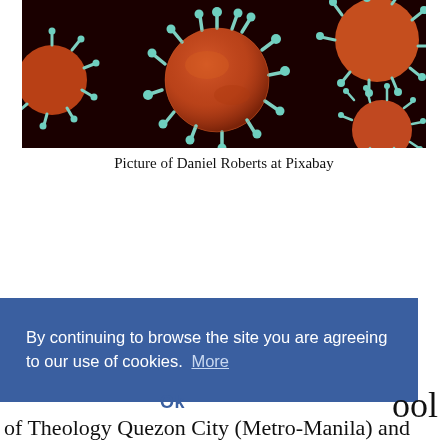[Figure (photo): Close-up 3D illustration of coronavirus particles (orange-red spheres with teal/cyan spike proteins) on a dark background.]
Picture of Daniel Roberts at Pixabay
By continuing to browse the site you are agreeing to our use of cookies.  More
Ok
ool
of Theology Quezon City (Metro-Manila) and